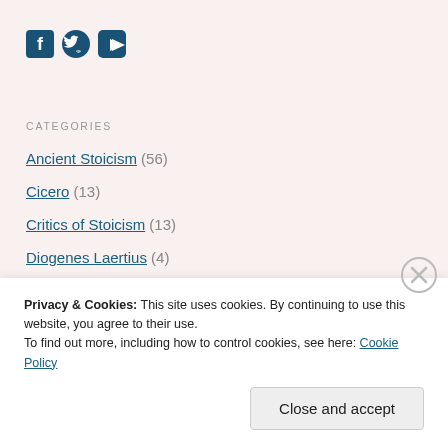[Figure (illustration): Social media icons: Facebook (f), Twitter (bird), YouTube (play button) in dark teal color]
CATEGORIES
Ancient Stoicism (56)
Cicero (13)
Critics of Stoicism (13)
Diogenes Laertius (4)
Epictetus (32)
History & Biographies (25)
Larry Becker (24)
Privacy & Cookies: This site uses cookies. By continuing to use this website, you agree to their use.
To find out more, including how to control cookies, see here: Cookie Policy
Close and accept